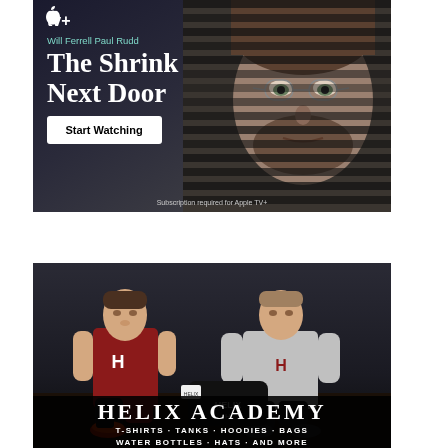[Figure (illustration): Apple TV+ advertisement for 'The Shrink Next Door' featuring Will Ferrell and Paul Rudd. Dark background with window blinds motif, man's face peering through blinds. Apple TV+ logo, cast names, show title in white serif font, 'Start Watching' button, and 'Subscription required for Apple TV+' disclaimer.]
[Figure (photo): Helix Academy merchandise advertisement showing two young male athletes sitting against a dark wall. One wears a maroon wrestling singlet with 'H', the other a gray Helix hoodie. A black Helix bag is between them. Bottom text reads 'HELIX ACADEMY' and 'T-SHIRTS · TANKS · HOODIES · BAGS · WATER BOTTLES · HATS · AND MORE'.]